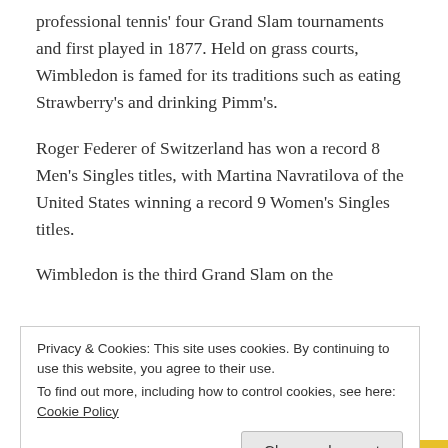professional tennis' four Grand Slam tournaments and first played in 1877. Held on grass courts, Wimbledon is famed for its traditions such as eating Strawberry's and drinking Pimm's.
Roger Federer of Switzerland has won a record 8 Men's Singles titles, with Martina Navratilova of the United States winning a record 9 Women's Singles titles.
Wimbledon is the third Grand Slam on the
Privacy & Cookies: This site uses cookies. By continuing to use this website, you agree to their use.
To find out more, including how to control cookies, see here: Cookie Policy
The 135th Championships is set to take place